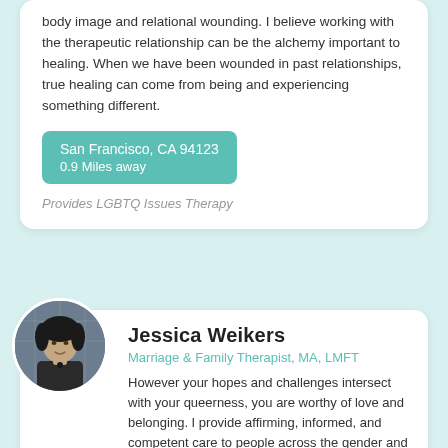body image and relational wounding. I believe working with the therapeutic relationship can be the alchemy important to healing. When we have been wounded in past relationships, true healing can come from being and experiencing something different.
San Francisco, CA 94123
0.9 Miles away
Provides LGBTQ Issues Therapy
[Figure (photo): Circular profile photo of Jessica Weikers, a woman with dark hair]
Jessica Weikers
Marriage & Family Therapist, MA, LMFT
However your hopes and challenges intersect with your queerness, you are worthy of love and belonging. I provide affirming, informed, and competent care to people across the gender and sexuality spectrums. As a queer person, I bring my